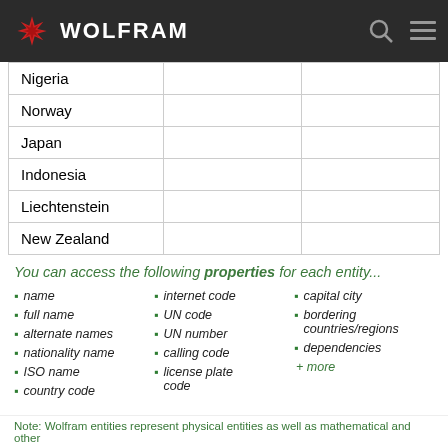WOLFRAM
|  |  |  |
| --- | --- | --- |
| Nigeria |  |  |
| Norway |  |  |
| Japan |  |  |
| Indonesia |  |  |
| Liechtenstein |  |  |
| New Zealand |  |  |
You can access the following properties for each entity...
name
full name
alternate names
nationality name
ISO name
country code
internet code
UN code
UN number
calling code
license plate code
capital city
bordering countries/regions
dependencies
+ more
Note: Wolfram entities represent physical entities as well as mathematical and other